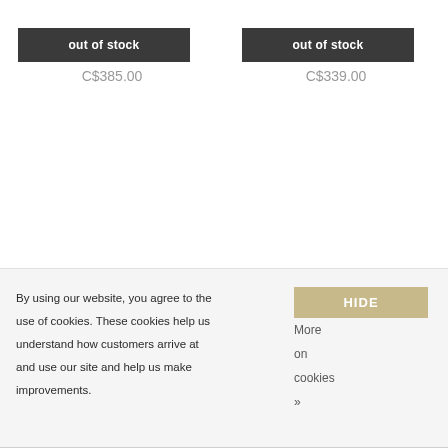Gage
C$385.00
Rattler
C$339.00
out of stock
out of stock
By using our website, you agree to the use of cookies. These cookies help us understand how customers arrive at and use our site and help us make improvements.
HIDE
More on cookies »